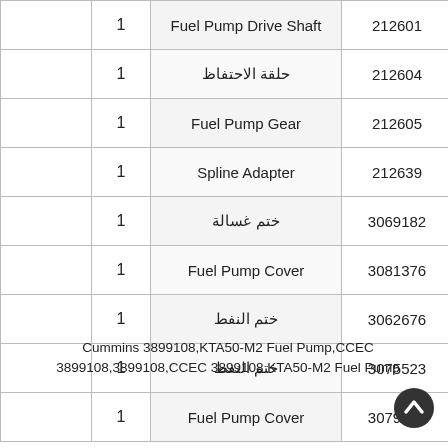|  | Qty | Description | Part No. |
| --- | --- | --- | --- |
|  | 1 | Fuel Pump Drive Shaft | 212601 |
|  | 1 | حلقة الاحتفاظ | 212604 |
|  | 1 | Fuel Pump Gear | 212605 |
|  | 1 | Spline Adapter | 212639 |
|  | 1 | ختم غسالة | 3069182 |
|  | 1 | Fuel Pump Cover | 3081376 |
|  | 1 | ختم النفط | 3062676 |
|  | 1 | ختم النفط | 3075523 |
|  | 1 | Fuel Pump Cover | 3079939 |
Cummins 3899108,KTA50-M2 Fuel Pump,CCEC 3899108,3899108,CCEC 3899108 KTA50-M2 Fuel Pump